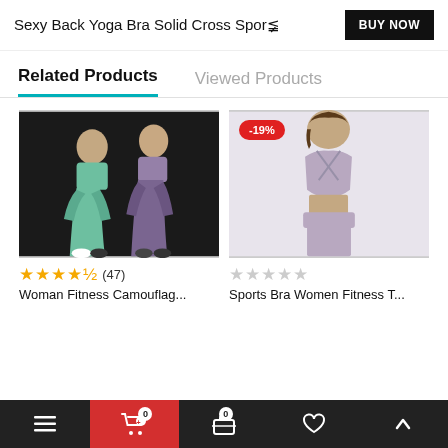Sexy Back Yoga Bra Solid Cross Spor...
Related Products
Viewed Products
[Figure (photo): Two women in fitness/yoga wear (green and purple/grey sets) posing against dark background]
★★★★½ (47)
Woman Fitness Camouflag...
[Figure (photo): Woman in lavender/mauve sports bra top, -19% discount badge shown]
☆☆☆☆☆
Sports Bra Women Fitness T...
Navigation bar: menu, cart (0), bag, heart, up arrow